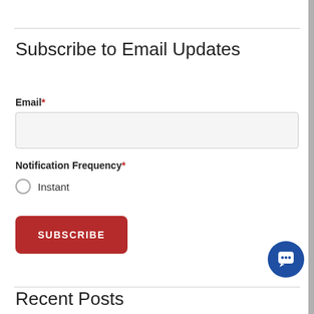Subscribe to Email Updates
Email *
Notification Frequency *
Instant
SUBSCRIBE
Recent Posts